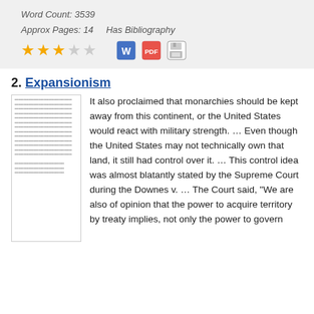Word Count: 3539
Approx Pages: 14    Has Bibliography
[Figure (infographic): 3 filled gold stars and 2 empty gray stars (rating), plus Word doc icon, PDF icon, and save/disk icon]
2. Expansionism
[Figure (illustration): Thumbnail preview of a text document page]
It also proclaimed that monarchies should be kept away from this continent, or the United States would react with military strength. … Even though the United States may not technically own that land, it still had control over it. … This control idea was almost blatantly stated by the Supreme Court during the Downes v. … The Court said, "We are also of opinion that the power to acquire territory by treaty implies, not only the power to govern